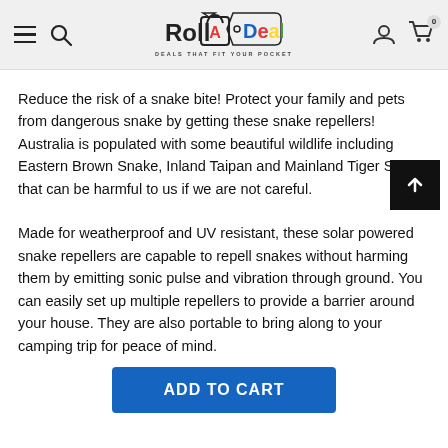Roll A Deal — DEALS THAT FIT YOUR POCKET
Reduce the risk of a snake bite! Protect your family and pets from dangerous snake by getting these snake repellers! Australia is populated with some beautiful wildlife including Eastern Brown Snake, Inland Taipan and Mainland Tiger Snake that can be harmful to us if we are not careful.
Made for weatherproof and UV resistant, these solar powered snake repellers are capable to repell snakes without harming them by emitting sonic pulse and vibration through ground. You can easily set up multiple repellers to provide a barrier around your house. They are also portable to bring along to your camping trip for peace of mind.
ADD TO CART